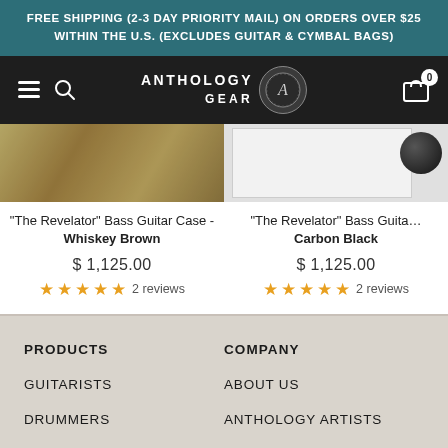FREE SHIPPING (2-3 DAY PRIORITY MAIL) ON ORDERS OVER $25 WITHIN THE U.S. (EXCLUDES GUITAR & CYMBAL BAGS)
[Figure (screenshot): Anthology Gear navigation bar with hamburger menu, search icon, brand logo, and cart icon showing 0 items]
[Figure (photo): The Revelator Bass Guitar Case - Whiskey Brown product image]
"The Revelator" Bass Guitar Case - Whiskey Brown
$ 1,125.00
★★★★★ 2 reviews
[Figure (photo): The Revelator Bass Guitar Case - Carbon Black product image]
"The Revelator" Bass Guitar Case - Carbon Black
$ 1,125.00
★★★★★ 2 reviews
PRODUCTS
COMPANY
GUITARISTS
ABOUT US
DRUMMERS
ANTHOLOGY ARTISTS